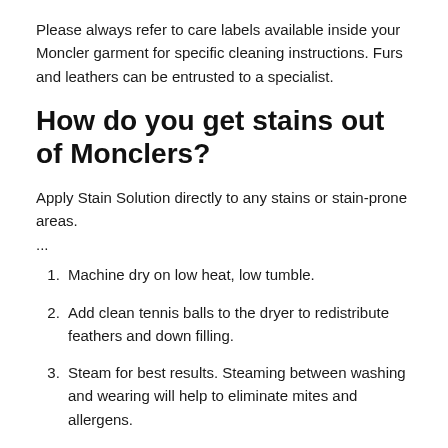Please always refer to care labels available inside your Moncler garment for specific cleaning instructions. Furs and leathers can be entrusted to a specialist.
How do you get stains out of Monclers?
Apply Stain Solution directly to any stains or stain-prone areas.
...
Machine dry on low heat, low tumble.
Add clean tennis balls to the dryer to redistribute feathers and down filling.
Steam for best results. Steaming between washing and wearing will help to eliminate mites and allergens.